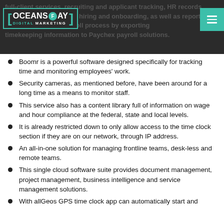full-client services, recruiting and applicant tracking, HR records, benefits administration, hiring and onboarding, as well as reporting and analytics, and payroll process by exporting timekeeping information to Paychex payroll solutions.
[Figure (logo): OceansPay Digital Marketing logo with teal bracket border and teal F circle]
Boomr is a powerful software designed specifically for tracking time and monitoring employees' work.
Security cameras, as mentioned before, have been around for a long time as a means to monitor staff.
This service also has a content library full of information on wage and hour compliance at the federal, state and local levels.
It is already restricted down to only allow access to the time clock section if they are on our network, through IP address.
An all-in-one solution for managing frontline teams, desk-less and remote teams.
This single cloud software suite provides document management, project management, business intelligence and service management solutions.
With allGeos GPS time clock app can automatically start and